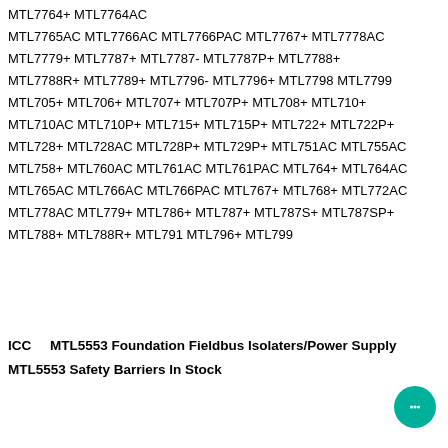MTL7764+ MTL7764AC
MTL7765AC MTL7766AC MTL7766PAC MTL7767+ MTL7778AC
MTL7779+ MTL7787+ MTL7787- MTL7787P+ MTL7788+
MTL7788R+ MTL7789+ MTL7796- MTL7796+ MTL7798 MTL7799
MTL705+ MTL706+ MTL707+ MTL707P+ MTL708+ MTL710+
MTL710AC MTL710P+ MTL715+ MTL715P+ MTL722+ MTL722P+
MTL728+ MTL728AC MTL728P+ MTL729P+ MTL751AC MTL755AC
MTL758+ MTL760AC MTL761AC MTL761PAC MTL764+ MTL764AC
MTL765AC MTL766AC MTL766PAC MTL767+ MTL768+ MTL772AC
MTL778AC MTL779+ MTL786+ MTL787+ MTL787S+ MTL787SP+
MTL788+ MTL788R+ MTL791 MTL796+ MTL799
ICC    MTL5553 Foundation Fieldbus Isolaters/Power Supply
MTL5553 Safety Barriers In Stock